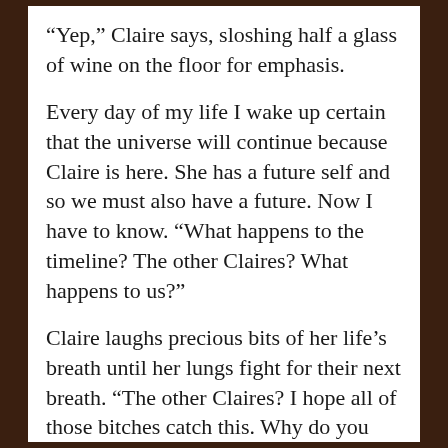“Yep,” Claire says, sloshing half a glass of wine on the floor for emphasis.
Every day of my life I wake up certain that the universe will continue because Claire is here. She has a future self and so we must also have a future. Now I have to know. “What happens to the timeline? The other Claires? What happens to us?”
Claire laughs precious bits of her life’s breath until her lungs fight for their next breath. “The other Claires? I hope all of those bitches catch this. Why do you think I came?”
#
Claire is a selfish ass determined to take herself down by any means necessary. The universe